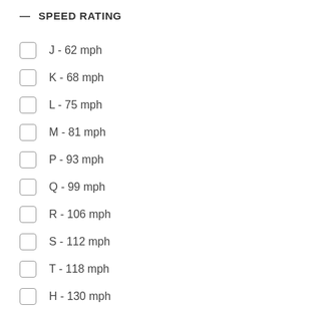— SPEED RATING
J - 62 mph
K - 68 mph
L - 75 mph
M - 81 mph
P - 93 mph
Q - 99 mph
R - 106 mph
S - 112 mph
T - 118 mph
H - 130 mph